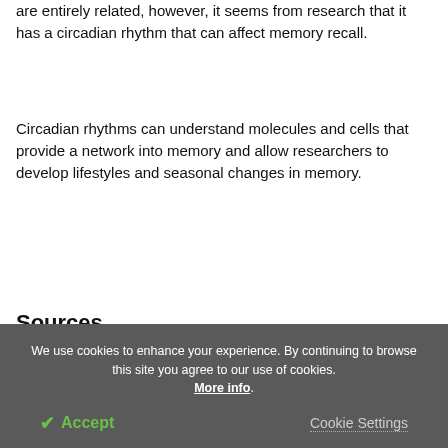are entirely related, however, it seems from research that it has a circadian rhythm that can affect memory recall.
Circadian rhythms can understand molecules and cells that provide a network into memory and allow researchers to develop lifestyles and seasonal changes in memory.
Sources
Gerstner, J.R. and Yin, J.C., 2010. Circadian
We use cookies to enhance your experience. By continuing to browse this site you agree to our use of cookies. More info.